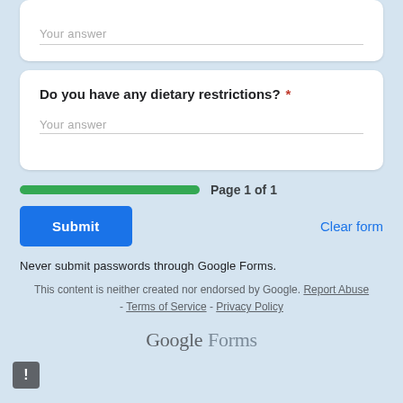Your answer
Do you have any dietary restrictions? *
Your answer
Page 1 of 1
Submit
Clear form
Never submit passwords through Google Forms.
This content is neither created nor endorsed by Google. Report Abuse - Terms of Service - Privacy Policy
Google Forms